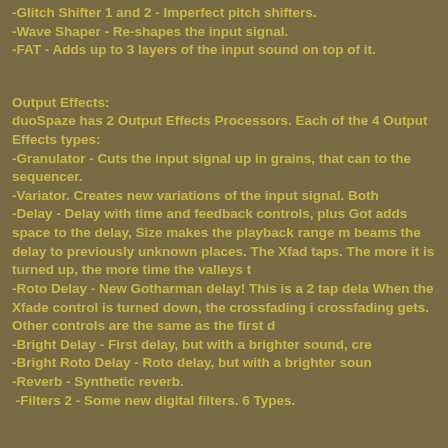-Glitch Shifter 1 and 2 - Imperfect pitch shifters.
-Wave Shaper - Re-shapes the input signal.
-FAT - Adds up to 3 layers of the input sound on top of it.
Output Effects:
duoSpaze has 2 Output Effects Processors. Each of the 4 Output Effects types:
-Granulator - Cuts the input signal up in grains, that can to the sequencer.
-Variator. Creates new variations of the input signal. Both
-Delay - Delay with time and feedback controls, plus Goth adds space to the delay, Size makes the playback range m beams the delay to previously unknown places. The Xfad taps. The more it is turned up, the more time the valleys t
-Roto Delay - New Gotharman delay! This is a 2 tap dela When the Xfade control is turned down, the crossfading i crossfading gets. Other controls are the same as the first d
-Bright Delay - First delay, but with a brighter sound, cre
-Bright Roto Delay - Roto delay, but with a brighter soun
-Reverb - Synthetic reverb.
-Filters 2 - Some new digital filters. 6 Types.